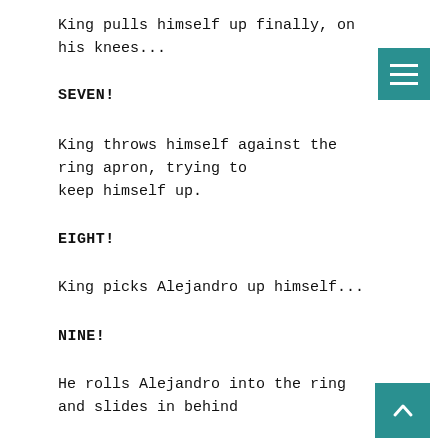King pulls himself up finally, on his knees...
SEVEN!
King throws himself against the ring apron, trying to keep himself up.
EIGHT!
King picks Alejandro up himself...
NINE!
He rolls Alejandro into the ring and slides in behind